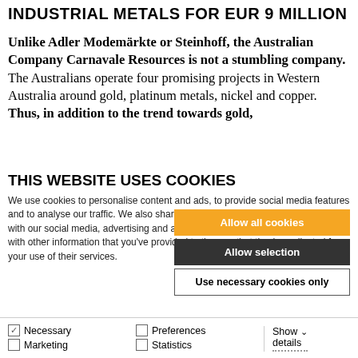INDUSTRIAL METALS FOR EUR 9 MILLION
Unlike Adler Modemärkte or Steinhoff, the Australian Company Carnavale Resources is not a stumbling company. The Australians operate four promising projects in Western Australia around gold, platinum metals, nickel and copper. Thus, in addition to the trend towards gold,
THIS WEBSITE USES COOKIES
We use cookies to personalise content and ads, to provide social media features and to analyse our traffic. We also share information about your use of our site with our social media, advertising and analytics partners who may combine it with other information that you've provided to them or that they've collected from your use of their services.
Allow all cookies
Allow selection
Use necessary cookies only
Necessary  Preferences  Statistics  Show details  Marketing